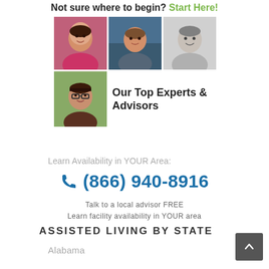Not sure where to begin? Start Here!
[Figure (photo): Collage of four advisor/expert headshots: woman in pink jacket (color), man at computer (color), woman smiling (black and white), woman with bangs and glasses (color)]
Our Top Experts & Advisors
Learn Availability in YOUR Area:
(866) 940-8916
Talk to a local advisor FREE
Learn facility availability in YOUR area
ASSISTED LIVING BY STATE
Alabama